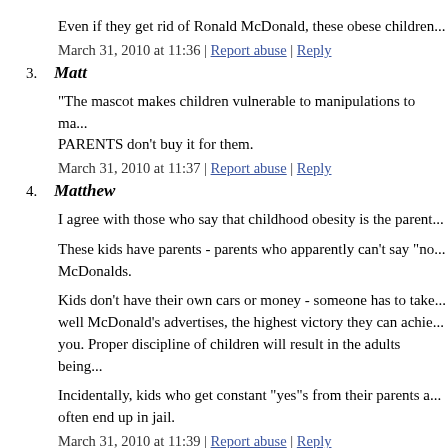Even if they get rid of Ronald McDonald, these obese children...
March 31, 2010 at 11:36 | Report abuse | Reply
3. Matt
"The mascot makes children vulnerable to manipulations to ma... PARENTS don't buy it for them.
March 31, 2010 at 11:37 | Report abuse | Reply
4. Matthew
I agree with those who say that childhood obesity is the parent...
These kids have parents - parents who apparently can't say "no... McDonalds.
Kids don't have their own cars or money - someone has to take... well McDonald's advertises, the highest victory they can achie... you. Proper discipline of children will result in the adults being...
Incidentally, kids who get constant "yes"s from their parents a... often end up in jail.
March 31, 2010 at 11:39 | Report abuse | Reply
5. Ken